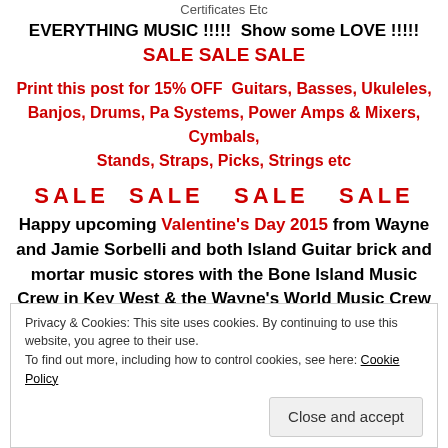Certificates Etc
EVERYTHING MUSIC !!!!!  Show some LOVE !!!!!
SALE SALE SALE
Print this post for 15% OFF  Guitars, Basses, Ukuleles, Banjos, Drums, Pa Systems, Power Amps & Mixers, Cymbals, Stands, Straps, Picks, Strings etc
SALE  SALE   SALE   SALE
Happy upcoming Valentine's Day 2015 from Wayne and Jamie Sorbelli and both Island Guitar brick and mortar music stores with the Bone Island Music Crew in Key West & the Wayne's World Music Crew in Dallas, W-B, Scranton NEPA!!!
Privacy & Cookies: This site uses cookies. By continuing to use this website, you agree to their use.
To find out more, including how to control cookies, see here: Cookie Policy
Close and accept